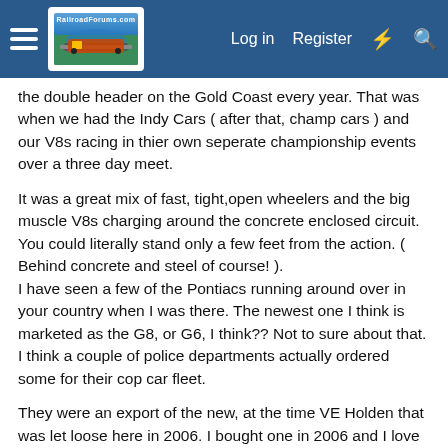RailroadForums.com | Log in | Register
the double header on the Gold Coast every year. That was when we had the Indy Cars ( after that, champ cars ) and our V8s racing in thier own seperate championship events over a three day meet.
It was a great mix of fast, tight,open wheelers and the big muscle V8s charging around the concrete enclosed circuit. You could literally stand only a few feet from the action. ( Behind concrete and steel of course! ).
I have seen a few of the Pontiacs running around over in your country when I was there. The newest one I think is marketed as the G8, or G6, I think?? Not to sure about that. I think a couple of police departments actually ordered some for their cop car fleet.
They were an export of the new, at the time VE Holden that was let loose here in 2006. I bought one in 2006 and I love the look of them over in the states with the slightly different grill and Chevy badge!